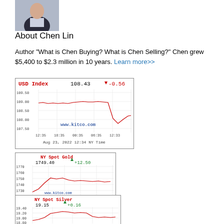[Figure (photo): Headshot photo of Chen Lin in a dark suit and light shirt]
About Chen Lin
Author "What is Chen Buying? What is Chen Selling?" Chen grew $5,400 to $2.3 million in 10 years. Learn more>>
[Figure (continuous-plot): USD Index line chart showing value 108.43, down -0.56, from Kitco, Aug 23 2022 12:34 NY Time, range ~107.50-109.50]
[Figure (continuous-plot): NY Spot Gold line chart showing 1749.40 up +12.50, from Kitco, Aug 23 2022 12:34 NY Time, Price in USD per oz, range ~1720-1770]
[Figure (continuous-plot): NY Spot Silver line chart showing 19.15 up +0.16, range ~18.80-19.40]